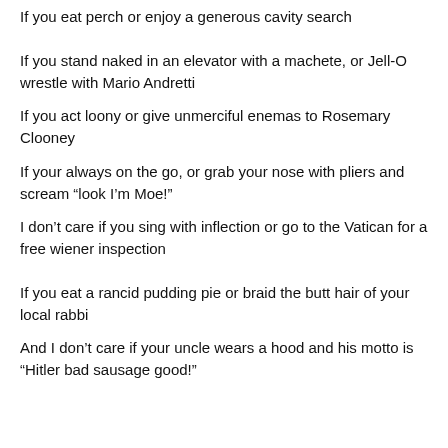If you eat perch or enjoy a generous cavity search
If you stand naked in an elevator with a machete, or Jell-O wrestle with Mario Andretti
If you act loony or give unmerciful enemas to Rosemary Clooney
If your always on the go, or grab your nose with pliers and scream “look I’m Moe!”
I don’t care if you sing with inflection or go to the Vatican for a free wiener inspection
If you eat a rancid pudding pie or braid the butt hair of your local rabbi
And I don’t care if your uncle wears a hood and his motto is “Hitler bad sausage good!”